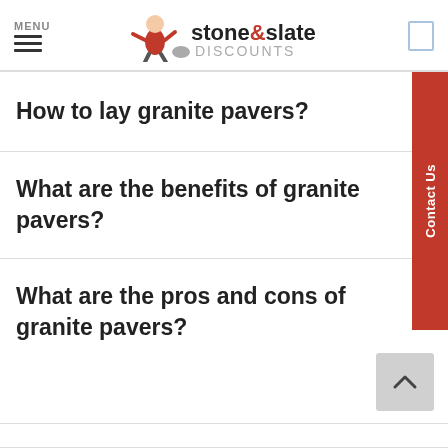MENU | stone&slate DISCOUNTS
How to lay granite pavers?
What are the benefits of granite pavers?
What are the pros and cons of granite pavers?